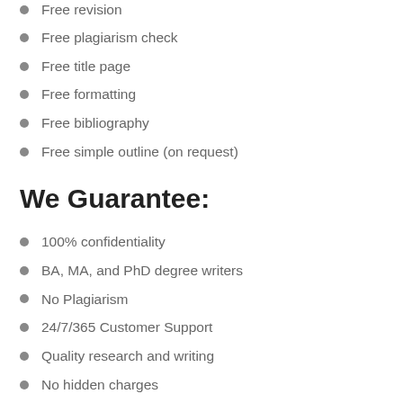Free revision
Free plagiarism check
Free title page
Free formatting
Free bibliography
Free simple outline (on request)
We Guarantee:
100% confidentiality
BA, MA, and PhD degree writers
No Plagiarism
24/7/365 Customer Support
Quality research and writing
No hidden charges
Never resold works
100% authenticity
Secure payment processing